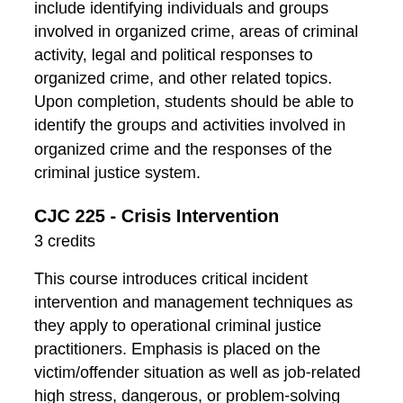include identifying individuals and groups involved in organized crime, areas of criminal activity, legal and political responses to organized crime, and other related topics. Upon completion, students should be able to identify the groups and activities involved in organized crime and the responses of the criminal justice system.
CJC 225 - Crisis Intervention
3 credits
This course introduces critical incident intervention and management techniques as they apply to operational criminal justice practitioners. Emphasis is placed on the victim/offender situation as well as job-related high stress, dangerous, or problem-solving citizen contacts. Upon completion, students should be able to provide insightful analysis of emotional, violent, drug-induced, and other critical and/or stressful incidents that require field analysis